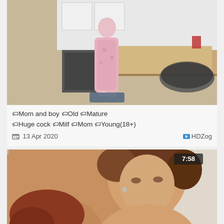[Figure (photo): Video thumbnail showing a kitchen scene with a person in a pink floral robe standing near white kitchen cabinets and countertop]
🏷 Mom and boy 🏷 Old 🏷 Mature 🏷 Huge cock 🏷 Milf 🏷 Mom 🏷 Young(18+)
📅 13 Apr 2020   ▶ HDZog
[Figure (photo): Video thumbnail showing two women in a close-up intimate scene, duration 7:58 shown in top right corner]